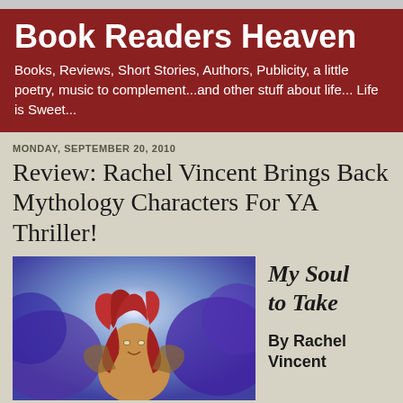Book Readers Heaven
Books, Reviews, Short Stories, Authors, Publicity, a little poetry, music to complement...and other stuff about life... Life is Sweet...
MONDAY, SEPTEMBER 20, 2010
Review: Rachel Vincent Brings Back Mythology Characters For YA Thriller!
[Figure (illustration): Illustrated book cover showing a girl with long red hair against a blue-purple smoky background with a glowing white light]
My Soul to Take
By Rachel Vincent